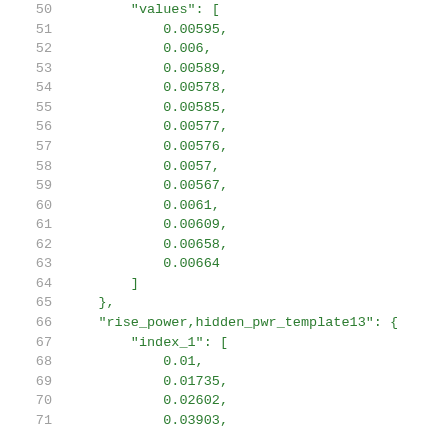Code listing showing JSON data with values array and rise_power hidden_pwr_template13 object, lines 50-71
50: "values": [
51: 0.00595,
52: 0.006,
53: 0.00589,
54: 0.00578,
55: 0.00585,
56: 0.00577,
57: 0.00576,
58: 0.0057,
59: 0.00567,
60: 0.0061,
61: 0.00609,
62: 0.00658,
63: 0.00664
64: ]
65: },
66: "rise_power,hidden_pwr_template13": {
67: "index_1": [
68: 0.01,
69: 0.01735,
70: 0.02602,
71: 0.03903,